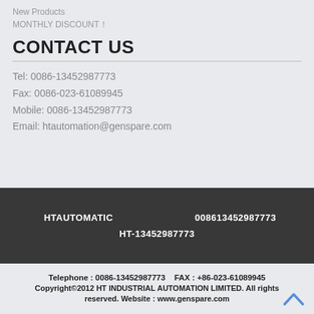New Products
MONTHLY DISCOUNT！
CONTACT US
Tel: 0086-13452987773
Fax: 0086-023-61089945
Mobile: 0086-13452987773
Email: htautomation@genspare.com
HTAUTOMATIC    008613452987773
HT-13452987773
Telephone : 0086-13452987773    FAX : +86-023-61089945
Copyright©2012 HT INDUSTRIAL AUTOMATION LIMITED. All rights reserved. Website : www.genspare.com